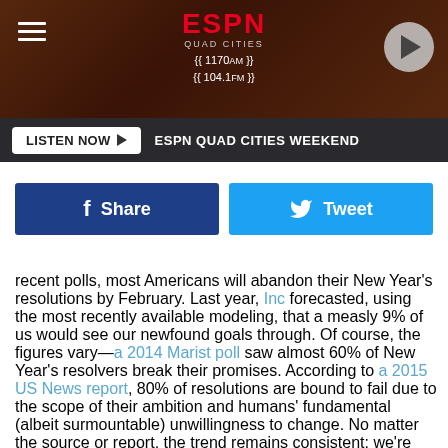[Figure (screenshot): ESPN Quad Cities radio station header with logo, frequency (1170am / 104.1fm), hamburger menu icon, and play button]
LISTEN NOW ▶  ESPN QUAD CITIES WEEKEND
[Figure (screenshot): Facebook Share button (blue) and Twitter Tweet button (light blue) side by side]
recent polls, most Americans will abandon their New Year's resolutions by February. Last year, Inc forecasted, using the most recently available modeling, that a measly 9% of us would see our newfound goals through. Of course, the figures vary—a 2014 Marist poll saw almost 60% of New Year's resolvers break their promises. According to a 2015 US News report, 80% of resolutions are bound to fail due to the scope of their ambition and humans' fundamental (albeit surmountable) unwillingness to change. No matter the source or report, the trend remains consistent: we're really not cut out for this whole resolution thing.